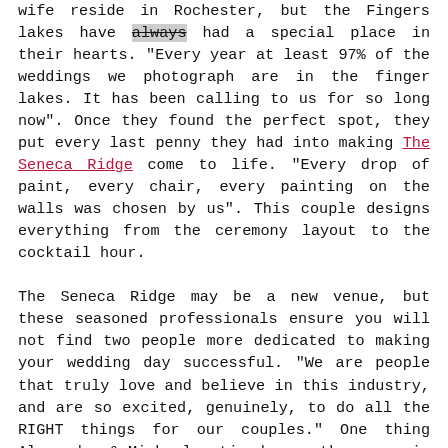wife reside in Rochester, but the Fingers lakes have always had a special place in their hearts. "Every year at least 97% of the weddings we photograph are in the finger lakes. It has been calling to us for so long now". Once they found the perfect spot, they put every last penny they had into making The Seneca Ridge come to life. "Every drop of paint, every chair, every painting on the walls was chosen by us". This couple designs everything from the ceremony layout to the cocktail hour.
The Seneca Ridge may be a new venue, but these seasoned professionals ensure you will not find two people more dedicated to making your wedding day successful. "We are people that truly love and believe in this industry, and are so excited, genuinely, to do all the RIGHT things for our couples." One thing Alexandra & Michael noticed over the years is venues that can't